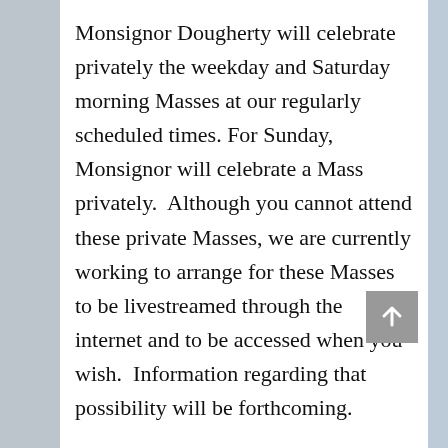Monsignor Dougherty will celebrate privately the weekday and Saturday morning Masses at our regularly scheduled times. For Sunday, Monsignor will celebrate a Mass privately.  Although you cannot attend these private Masses, we are currently working to arrange for these Masses to be livestreamed through the internet and to be accessed when you wish.  Information regarding that possibility will be forthcoming.
Confessions will be offered at the scheduled times.  As stated by Archbishop Perez,